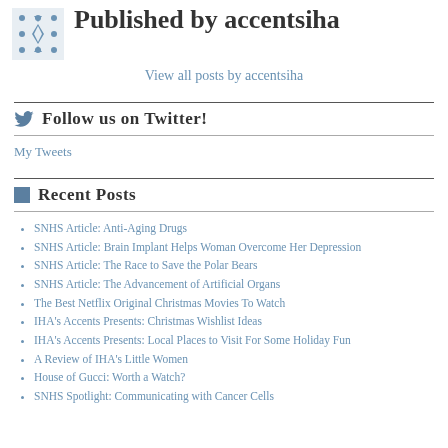Published by accentsiha
View all posts by accentsiha
Follow us on Twitter!
My Tweets
Recent Posts
SNHS Article: Anti-Aging Drugs
SNHS Article: Brain Implant Helps Woman Overcome Her Depression
SNHS Article: The Race to Save the Polar Bears
SNHS Article: The Advancement of Artificial Organs
The Best Netflix Original Christmas Movies To Watch
IHA's Accents Presents: Christmas Wishlist Ideas
IHA's Accents Presents: Local Places to Visit For Some Holiday Fun
A Review of IHA's Little Women
House of Gucci: Worth a Watch?
SNHS Spotlight: Communicating with Cancer Cells